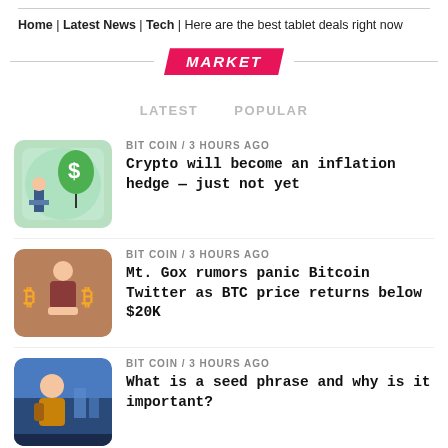Home | Latest News | Tech | Here are the best tablet deals right now
MARKET
LATEST   POPULAR
BIT COIN / 3 hours ago
Crypto will become an inflation hedge — just not yet
BIT COIN / 3 hours ago
Mt. Gox rumors panic Bitcoin Twitter as BTC price returns below $20K
BIT COIN / 3 hours ago
What is a seed phrase and why is it important?